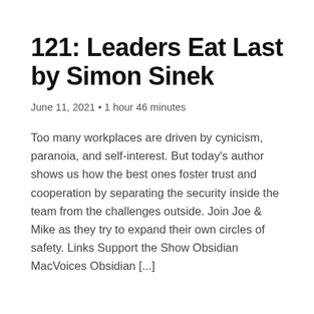121: Leaders Eat Last by Simon Sinek
June 11, 2021 • 1 hour 46 minutes
Too many workplaces are driven by cynicism, paranoia, and self-interest. But today's author shows us how the best ones foster trust and cooperation by separating the security inside the team from the challenges outside. Join Joe & Mike as they try to expand their own circles of safety. Links Support the Show Obsidian MacVoices Obsidian [...]